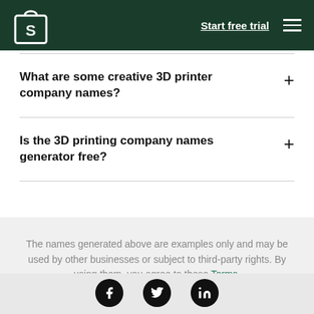Shopify — Start free trial
What are some creative 3D printer company names?
Is the 3D printing company names generator free?
The names generated above are examples only and may be used by other businesses or subject to third-party rights. By using them, you agree to these Terms.
Social media icons: Facebook, Twitter, LinkedIn